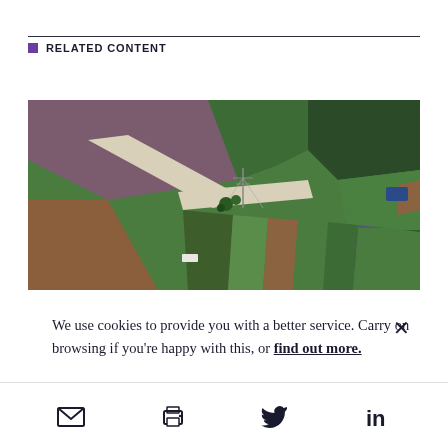RELATED CONTENT
[Figure (photo): Aerial view of agricultural farmland with patchwork fields in various shades of green, brown, and purple, intersected by dirt roads and paths.]
We use cookies to provide you with a better service. Carry on browsing if you're happy with this, or find out more.
Email icon, Print icon, Twitter icon, LinkedIn icon